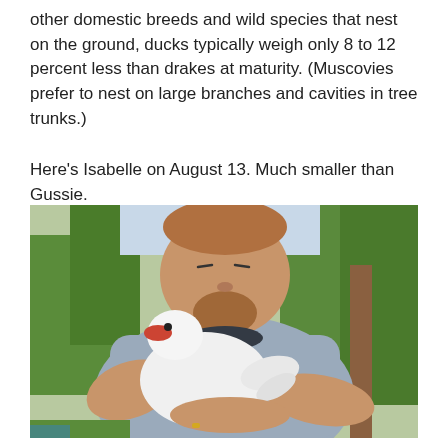other domestic breeds and wild species that nest on the ground, ducks typically weigh only 8 to 12 percent less than drakes at maturity. (Muscovies prefer to nest on large branches and cavities in tree trunks.)
Here's Isabelle on August 13. Much smaller than Gussie.
[Figure (photo): A man with a beard, eyes closed, holding a white Muscovy duck (Isabelle) in his arms outdoors, with trees visible in the background.]